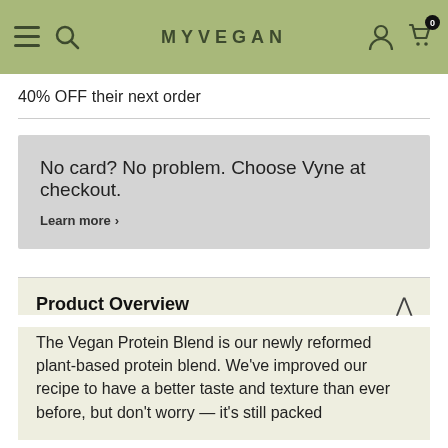MYVEGAN
40% OFF their next order
No card? No problem. Choose Vyne at checkout.
Learn more ›
Product Overview
The Vegan Protein Blend is our newly reformed plant-based protein blend. We've improved our recipe to have a better taste and texture than ever before, but don't worry — it's still packed